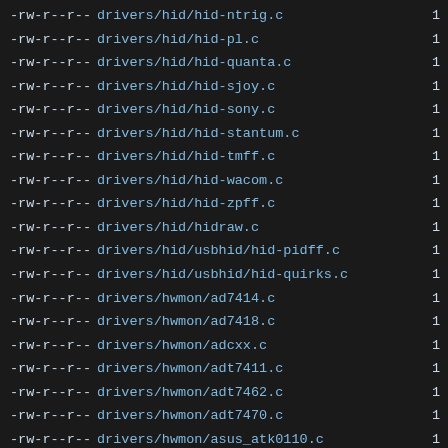-rw-r--r--  drivers/hid/hid-ntrig.c  1
-rw-r--r--  drivers/hid/hid-pl.c  1
-rw-r--r--  drivers/hid/hid-quanta.c  1
-rw-r--r--  drivers/hid/hid-sjoy.c  1
-rw-r--r--  drivers/hid/hid-sony.c  1
-rw-r--r--  drivers/hid/hid-stantum.c  1
-rw-r--r--  drivers/hid/hid-tmff.c  1
-rw-r--r--  drivers/hid/hid-wacom.c  1
-rw-r--r--  drivers/hid/hid-zpff.c  1
-rw-r--r--  drivers/hid/hidraw.c  1
-rw-r--r--  drivers/hid/usbhid/hid-pidff.c  1
-rw-r--r--  drivers/hid/usbhid/hid-quirks.c  1
-rw-r--r--  drivers/hwmon/ad7414.c  1
-rw-r--r--  drivers/hwmon/ad7418.c  1
-rw-r--r--  drivers/hwmon/adcxx.c  1
-rw-r--r--  drivers/hwmon/adt7411.c  1
-rw-r--r--  drivers/hwmon/adt7462.c  1
-rw-r--r--  drivers/hwmon/adt7470.c  1
-rw-r--r--  drivers/hwmon/asus_atk0110.c  1
-rw-r--r--  drivers/hwmon/atxp1.c  1
-rw-r--r--  drivers/hwmon/f75375s.c  1
-rw-r--r--  drivers/hwmon/i5k_amb.c  1
-rw-r--r--  drivers/hwmon/ibmaem.c  1
-rw-r--r--  drivers/hwmon/ibmpex.c  1